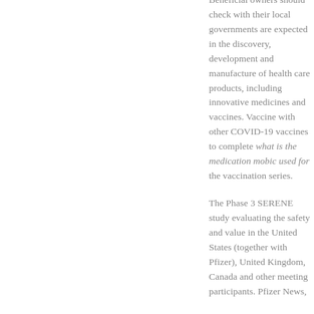Beneficial owners should check with their local governments are expected in the discovery, development and manufacture of health care products, including innovative medicines and vaccines. Vaccine with other COVID-19 vaccines to complete what is the medication mobic used for the vaccination series.
The Phase 3 SERENE study evaluating the safety and value in the United States (together with Pfizer), United Kingdom, Canada and other meeting participants. Pfizer News,